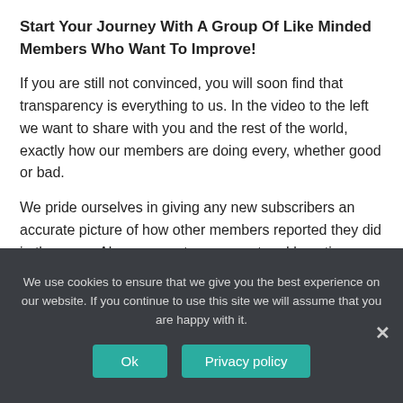Start Your Journey With A Group Of Like Minded Members Who Want To Improve!
If you are still not convinced, you will soon find that transparency is everything to us. In the video to the left we want to share with you and the rest of the world, exactly how our members are doing every, whether good or bad.
We pride ourselves in giving any new subscribers an accurate picture of how other members reported they did in the room. Also, we want our current and long time subscribers to be able go back see how they have
We use cookies to ensure that we give you the best experience on our website. If you continue to use this site we will assume that you are happy with it.